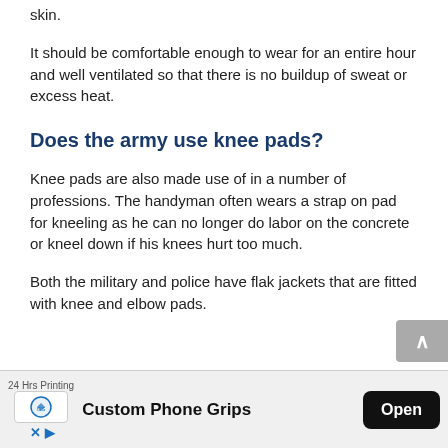skin.
It should be comfortable enough to wear for an entire hour and well ventilated so that there is no buildup of sweat or excess heat.
Does the army use knee pads?
Knee pads are also made use of in a number of professions. The handyman often wears a strap on pad for kneeling as he can no longer do labor on the concrete or kneel down if his knees hurt too much.
Both the military and police have flak jackets that are fitted with knee and elbow pads.
[Figure (other): Advertisement banner: 24 Hrs Printing - Custom Phone Grips, with Open button]